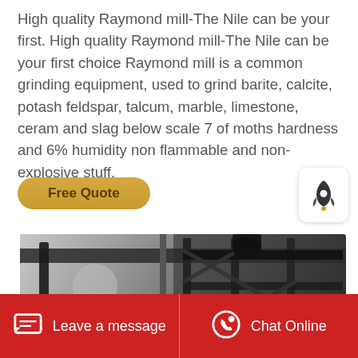High quality Raymond mill-The Nile can be your first. High quality Raymond mill-The Nile can be your first choice Raymond mill is a common grinding equipment, used to grind barite, calcite, potash feldspar, talcum, marble, limestone, ceram and slag below scale 7 of moths hardness and 6% humidity non flammable and non-explosive stuff.
[Figure (other): Golden 'Free Quote' button with rounded corners, and a white rounded-square icon with a rocket/launch symbol]
[Figure (photo): Industrial Raymond mill machinery photo showing metal framework and equipment components in a factory setting]
Leave a message   Chat Online